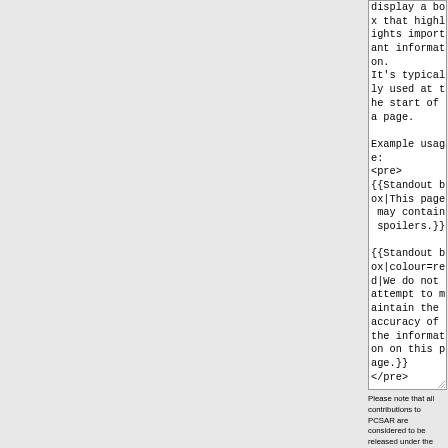display a box that highlights important information.
It's typically used at the start of a page.

Example usage:
<pre>
{{Standout box|This page may contain spoilers.}}

{{Standout box|colour=red|We do not attempt to maintain the accuracy of the information on this page.}}
</pre>

Results:

{{Standout box|This page may contain spoilers.}}

{{Standout box|colour=red|We do not attempt to maintain the
Please note that all contributions to PCSAR are considered to be released under the Attribution-Share Alike 3.0 Unported (see PCSAR:Copyrights for details). If you don't want your writing to be edited mercilessly and